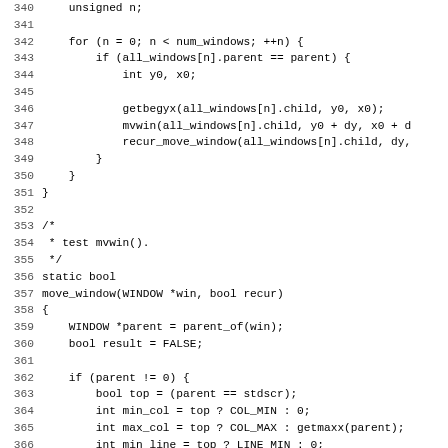Source code listing lines 340-371, C programming language code showing functions recur_move_window and move_window with variable declarations and control flow.